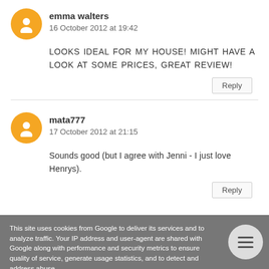emma walters
16 October 2012 at 19:42
LOOKS IDEAL FOR MY HOUSE! MIGHT HAVE A LOOK AT SOME PRICES, GREAT REVIEW!
Reply
mata777
17 October 2012 at 21:15
Sounds good (but I agree with Jenni - I just love Henrys).
Reply
This site uses cookies from Google to deliver its services and to analyze traffic. Your IP address and user-agent are shared with Google along with performance and security metrics to ensure quality of service, generate usage statistics, and to detect and address abuse.
LEARN MORE   OK